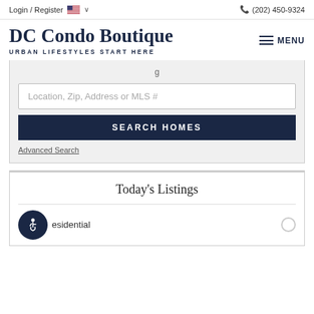Login / Register | (202) 450-9324
DC Condo Boutique
URBAN LIFESTYLES START HERE
Location, Zip, Address or MLS #
SEARCH HOMES
Advanced Search
Today's Listings
esidential